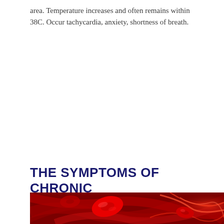area. Temperature increases and often remains within 38C. Occur tachycardia, anxiety, shortness of breath.
THE SYMPTOMS OF CHRONIC
[Figure (photo): Close-up photo of red blood cells in red-toned environment, showing erythrocytes with a dark red background and fibrous tissue.]